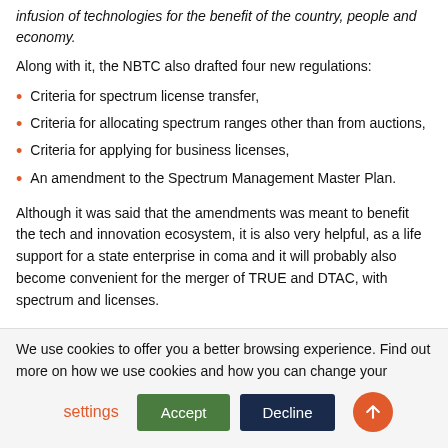infusion of technologies for the benefit of the country, people and economy.
Along with it, the NBTC also drafted four new regulations:
Criteria for spectrum license transfer,
Criteria for allocating spectrum ranges other than from auctions,
Criteria for applying for business licenses,
An amendment to the Spectrum Management Master Plan.
Although it was said that the amendments was meant to benefit the tech and innovation ecosystem, it is also very helpful, as a life support for a state enterprise in coma and it will probably also become convenient for the merger of TRUE and DTAC, with spectrum and licenses.
We use cookies to offer you a better browsing experience. Find out more on how we use cookies and how you can change your settings